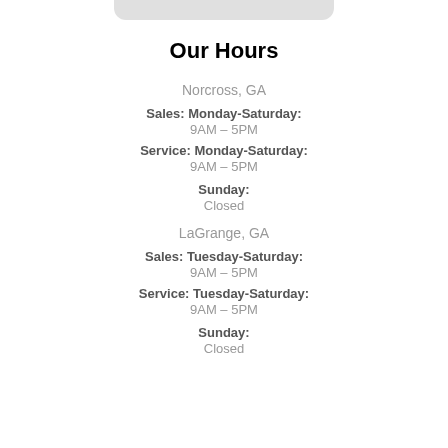Our Hours
Norcross, GA
Sales: Monday-Saturday:
9AM – 5PM
Service: Monday-Saturday:
9AM – 5PM
Sunday:
Closed
LaGrange, GA
Sales: Tuesday-Saturday:
9AM – 5PM
Service: Tuesday-Saturday:
9AM – 5PM
Sunday:
Closed